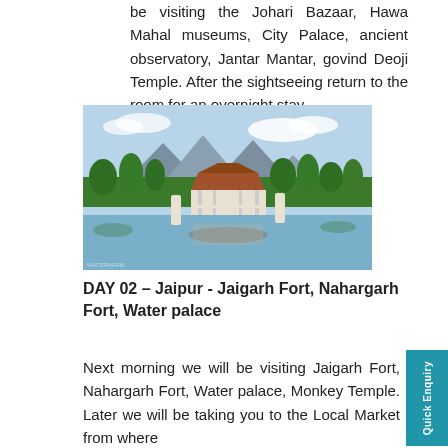be visiting the Johari Bazaar, Hawa Mahal museums, City Palace, ancient observatory, Jantar Mantar, govind Deoji Temple. After the sightseeing return to the room for an overnight stay.
[Figure (photo): Scenic landscape photo showing a pavilion or gazebo on a lake with lush green trees and mountains in the background, with reflections visible in the calm water.]
DAY 02 – Jaipur - Jaigarh Fort, Nahargarh Fort, Water palace
Next morning we will be visiting Jaigarh Fort, Nahargarh Fort, Water palace, Monkey Temple. Later we will be taking you to the Local Market from where